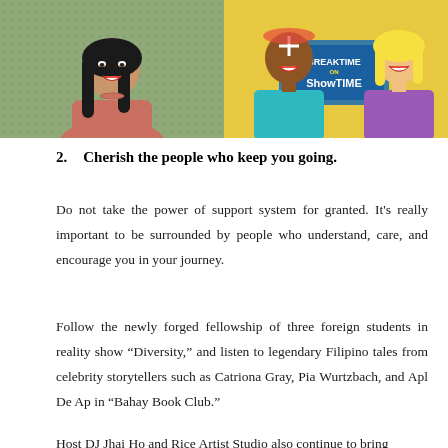[Figure (photo): Two side-by-side photos: left shows a woman with long dark hair smiling against a green dotted background; right shows two people — a man with face paint and colorful outfit next to a blonde woman — with a 'Breaktime on Showtime' graphic overlay on a yellow background.]
2.    Cherish the people who keep you going.
Do not take the power of support system for granted. It's really important to be surrounded by people who understand, care, and encourage you in your journey.
Follow the newly forged fellowship of three foreign students in reality show “Diversity,” and listen to legendary Filipino tales from celebrity storytellers such as Catriona Gray, Pia Wurtzbach, and Apl De Ap in “Bahay Book Club.”
Host DJ Jhai Ho and Rice Artist Studio also continue to bring